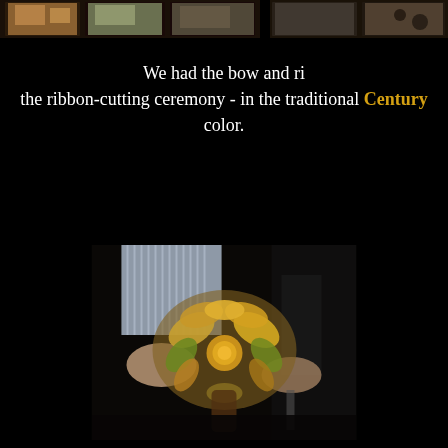[Figure (photo): Strip of photos at top of page showing event scenes, partially visible, cut off at right edge]
We had the bow and ri the ribbon-cutting ceremony - in the traditional Century color.
[Figure (photo): Photo of hands holding a large decorative ribbon bow used for a ribbon-cutting ceremony, gold/multicolored bow visible]